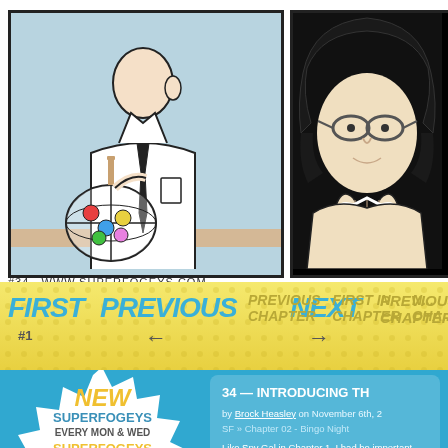[Figure (illustration): Comic strip page from Superfogeys #34. Left panel shows a cartoon character in a white lab coat and tie standing behind a bingo cage with colorful balls, light blue background. Right panel shows a close-up of a character with dark hair and glasses in black and white style.]
#34   WWW.SUPERFOGEYS.COM
[Figure (infographic): Navigation bar with yellow/gold background. Left side shows FIRST, PREVIOUS, NEXT in large blue italic bold text, with #1 below and arrow symbols. Right side shows PREVIOUS CHAPTER, FIRST IN CHAPTER, and partial NEXT IN CHAPTER in gold italic bold text.]
[Figure (infographic): Starburst badge on blue background reading: NEW SUPERFOGEYS EVERY MON & WED SUPERFOGEYS ORIGINS EVERY FRI]
34 — INTRODUCING TH
by Brock Heasley on November 6th, 2
SF » Chapter 02 - Bingo Night
Like Spy Gal in Chapter 1, I had be important and surprising.
Originally, the Healer was going that. After being comfortable with